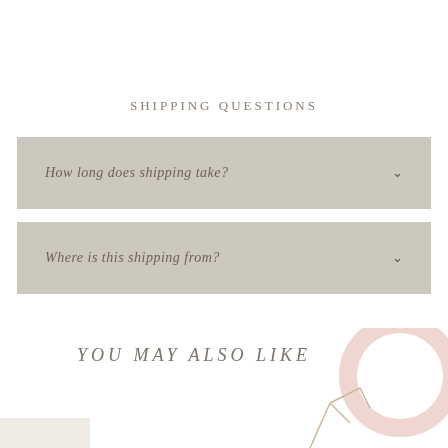SHIPPING QUESTIONS
How long does shipping take?
Where is this shipping from?
YOU MAY ALSO LIKE
[Figure (illustration): Partial pink circle decorative element and botanical line illustration at bottom right corner]